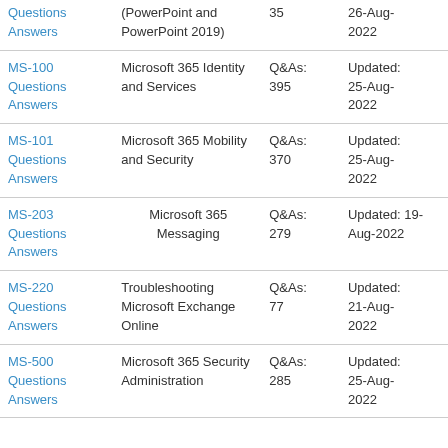| Exam | Title | Q&As | Updated |
| --- | --- | --- | --- |
| Questions
Answers | (PowerPoint and PowerPoint 2019) | 35 | 26-Aug-2022 |
| MS-100
Questions
Answers | Microsoft 365 Identity and Services | Q&As: 395 | Updated: 25-Aug-2022 |
| MS-101
Questions
Answers | Microsoft 365 Mobility and Security | Q&As: 370 | Updated: 25-Aug-2022 |
| MS-203
Questions
Answers | Microsoft 365 Messaging | Q&As: 279 | Updated: 19-Aug-2022 |
| MS-220
Questions
Answers | Troubleshooting Microsoft Exchange Online | Q&As: 77 | Updated: 21-Aug-2022 |
| MS-500
Questions
Answers | Microsoft 365 Security Administration | Q&As: 285 | Updated: 25-Aug-2022 |